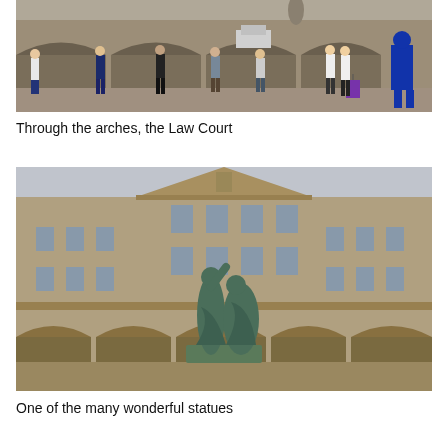[Figure (photo): Street scene in front of a large historic stone building with arches. Several people are walking across the street; one person is pulling a purple suitcase.]
Through the arches, the Law Court
[Figure (photo): Courtyard of the Law Court building showing a neoclassical stone facade with a triangular pediment, multiple windows, and a prominent bronze sculpture/statue group in the foreground.]
One of the many wonderful statues